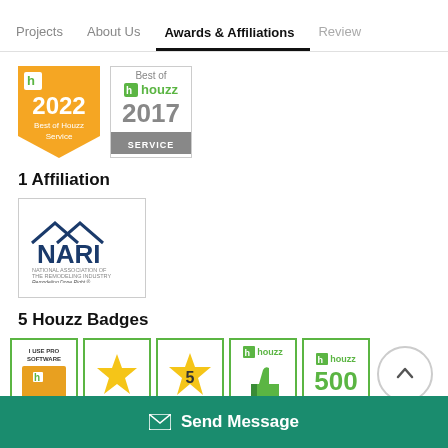Projects | About Us | Awards & Affiliations | Review
[Figure (logo): Houzz Best of 2022 Service badge - gold/orange pennant shape]
[Figure (logo): Best of houzz 2017 SERVICE badge - white with green houzz logo]
1 Affiliation
[Figure (logo): NARI - National Association of the Remodeling Industry - Remodeling Done Right logo]
5 Houzz Badges
[Figure (logo): Five Houzz badges: I USE PRO SOFTWARE (Houzz h icon), Star badge, Star 5 badge, Houzz thumbs up badge, Houzz 500 badge; with scroll-up circle arrow button]
Send Message